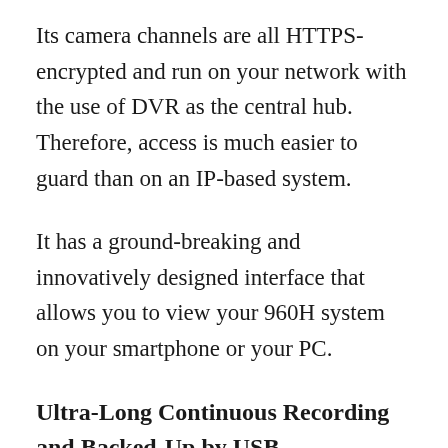Its camera channels are all HTTPS-encrypted and run on your network with the use of DVR as the central hub. Therefore, access is much easier to guard than on an IP-based system.
It has a ground-breaking and innovatively designed interface that allows you to view your 960H system on your smartphone or your PC.
Ultra-Long Continuous Recording and Backed-Up by USB
This camera system features a preinstalled 500 GB HDD that allows you to record all...